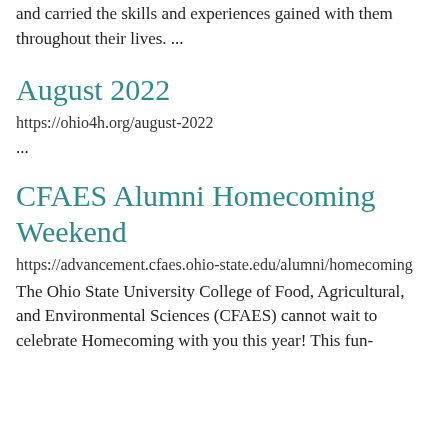and carried the skills and experiences gained with them throughout their lives. ...
August 2022
https://ohio4h.org/august-2022
...
CFAES Alumni Homecoming Weekend
https://advancement.cfaes.ohio-state.edu/alumni/homecoming
The Ohio State University College of Food, Agricultural, and Environmental Sciences (CFAES) cannot wait to celebrate Homecoming with you this year! This fun-